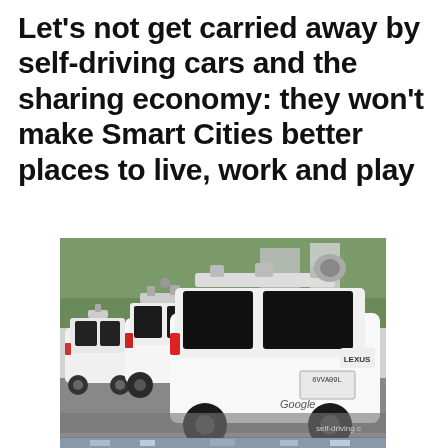Let's not get carried away by self-driving cars and the sharing economy: they won't make Smart Cities better places to live, work and play
[Figure (photo): A line of white Google self-driving Lexus SUVs parked on a street, each equipped with sensor equipment on the roof. The nearest car shows the Google logo and a license plate. Text 'self-driving c' partially visible at bottom right.]